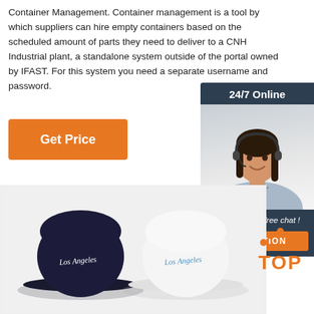Container Management. Container management is a tool by which suppliers can hire empty containers based on the scheduled amount of parts they need to deliver to a CNH Industrial plant, a standalone system outside of the portal owned by IFAST. For this system you need a separate username and password.
[Figure (other): Orange 'Get Price' button]
[Figure (other): 24/7 Online chat widget with photo of female customer service agent wearing headset, and QUOTATION button]
[Figure (photo): Two bucket hats with 'Los Angeles' script text — one navy blue, one white — on a light grey background]
[Figure (logo): TOP logo with orange triangle/arch dots above the word TOP in orange text]